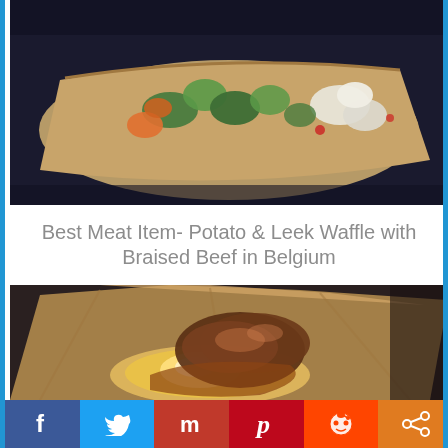[Figure (photo): Food in a paper boat tray with colorful vegetables (green peppers, carrots) and white rice/cauliflower on dark background]
Best Meat Item- Potato & Leek Waffle with Braised Beef in Belgium
[Figure (photo): Close-up of a potato and leek waffle with braised beef in a paper boat tray, showing glazed meat on top of waffle]
[Figure (infographic): Social sharing bar with Facebook, Twitter, StumbleUpon, Pinterest, Reddit, and Share buttons]